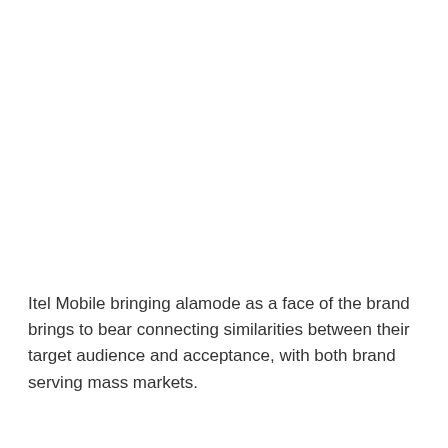Itel Mobile bringing alamode as a face of the brand brings to bear connecting similarities between their target audience and acceptance, with both brand serving mass markets.